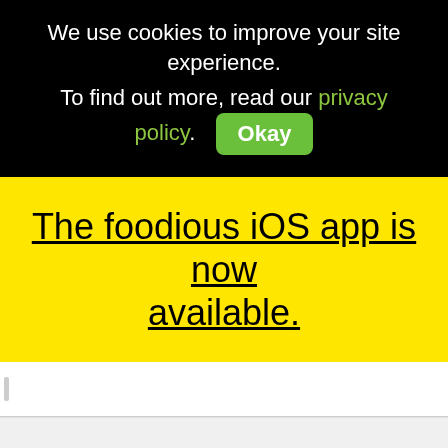We use cookies to improve your site experience. To find out more, read our privacy policy. Okay
The foodious iOS app is now available.
Avocado Baked